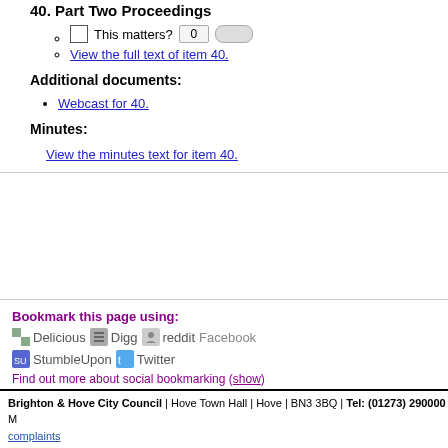40. Part Two Proceedings
This matters? 0
View the full text of item 40.
Additional documents:
Webcast for 40.
Minutes:
View the minutes text for item 40.
Bookmark this page using:
Delicious Digg reddit Facebook StumbleUpon Twitter
Find out more about social bookmarking (show)
privacy statement | statements of ownership and liability | freedom of infor
Brighton & Hove City Council | Hove Town Hall | Hove | BN3 3BQ | Tel: (01273) 290000 | M complaints